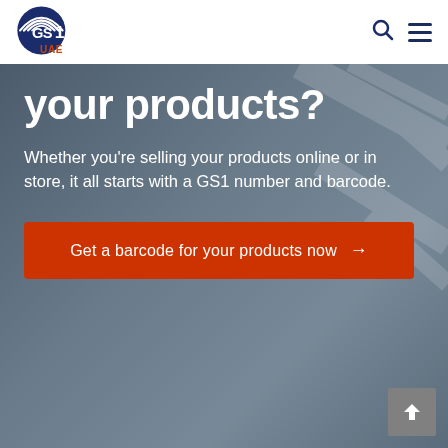[Figure (logo): GS1 UAE logo — dark blue globe/signal icon with GS1 text and orange UAE label]
your products?
Whether you're selling your products online or in store, it all starts with a GS1 number and barcode.
Get a barcode for your products now →